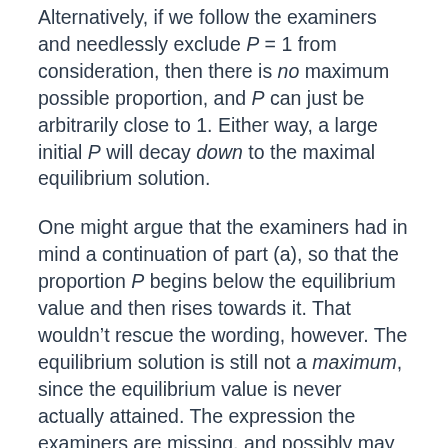Alternatively, if we follow the examiners and needlessly exclude P = 1 from consideration, then there is no maximum possible proportion, and P can just be arbitrarily close to 1. Either way, a large initial P will decay down to the maximal equilibrium solution.
One might argue that the examiners had in mind a continuation of part (a), so that the proportion P begins below the equilibrium value and then rises towards it. That wouldn't rescue the wording, however. The equilibrium solution is still not a maximum, since the equilibrium value is never actually attained. The expression the examiners are missing, and possibly may even have heard of, is least upper bound. That expression is too sophisticated to be used on a school exam, but whose problem is that? It's the examiners who